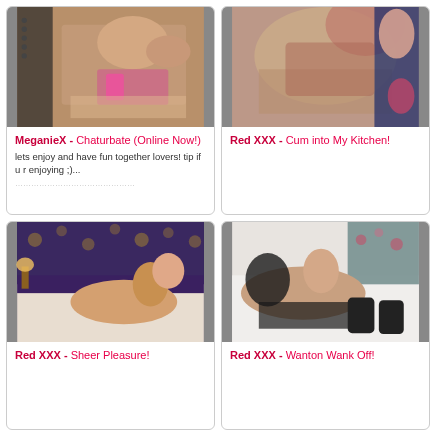[Figure (photo): Close-up photo used as card thumbnail - top left card]
MeganieX - Chaturbate (Online Now!)
lets enjoy and have fun together lovers! tip if u r enjoying ;)...
[Figure (photo): Close-up photo used as card thumbnail - top right card]
Red XXX - Cum into My Kitchen!
[Figure (photo): Photo of woman on bed - bottom left card]
Red XXX - Sheer Pleasure!
[Figure (photo): Photo of woman on bed - bottom right card]
Red XXX - Wanton Wank Off!